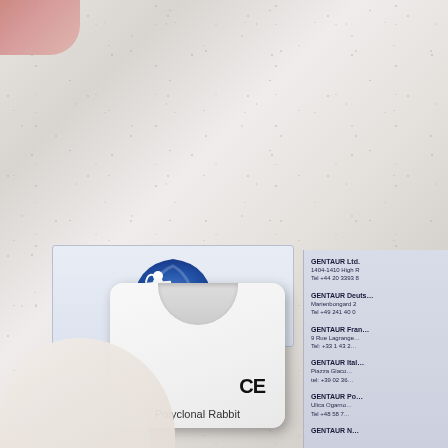[Figure (photo): Photograph of a white gloved hand holding a small white product box/vial container with a semicircle cutout on top and CE mark, placed on a white textured surface next to a GENTAUR branded label/box showing the centaur logo and partial address panel with multiple GENTAUR office locations. Text 'Polyclonal Rabbit' is visible at the bottom of the product box.]